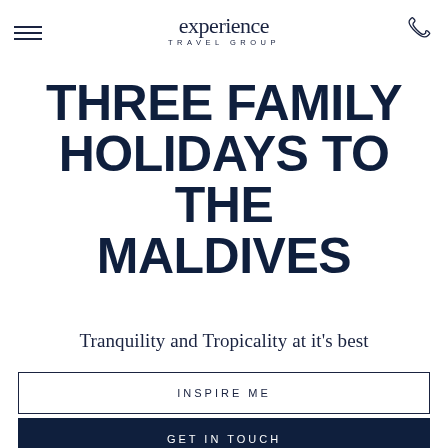experience TRAVEL GROUP
THREE FAMILY HOLIDAYS TO THE MALDIVES
Tranquility and Tropicality at it's best
INSPIRE ME
GET IN TOUCH